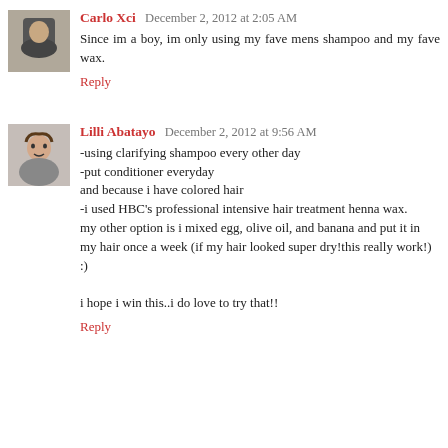Carlo Xci December 2, 2012 at 2:05 AM
Since im a boy, im only using my fave mens shampoo and my fave wax.
Reply
Lilli Abatayo December 2, 2012 at 9:56 AM
-using clarifying shampoo every other day
-put conditioner everyday
and because i have colored hair
-i used HBC's professional intensive hair treatment henna wax.
my other option is i mixed egg, olive oil, and banana and put it in
my hair once a week (if my hair looked super dry!this really work!)
:)

i hope i win this..i do love to try that!!
Reply